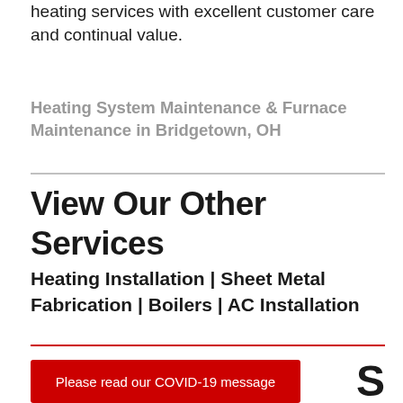heating services with excellent customer care and continual value.
Heating System Maintenance & Furnace Maintenance in Bridgetown, OH
View Our Other Services
Heating Installation | Sheet Metal Fabrication | Boilers | AC Installation
Please read our COVID-19 message